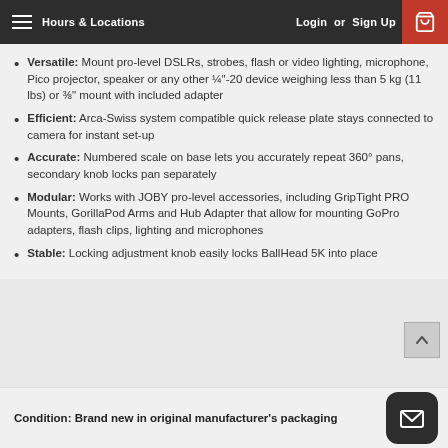Hours & Locations   Login or Sign Up
Versatile: Mount pro-level DSLRs, strobes, flash or video lighting, microphone, Pico projector, speaker or any other ¼"-20 device weighing less than 5 kg (11 lbs) or ⅜" mount with included adapter
Efficient: Arca-Swiss system compatible quick release plate stays connected to camera for instant set-up
Accurate: Numbered scale on base lets you accurately repeat 360° pans, secondary knob locks pan separately
Modular: Works with JOBY pro-level accessories, including GripTight PRO Mounts, GorillaPod Arms and Hub Adapter that allow for mounting GoPro adapters, flash clips, lighting and microphones
Stable: Locking adjustment knob easily locks BallHead 5K into place
Condition: Brand new in original manufacturer's packaging